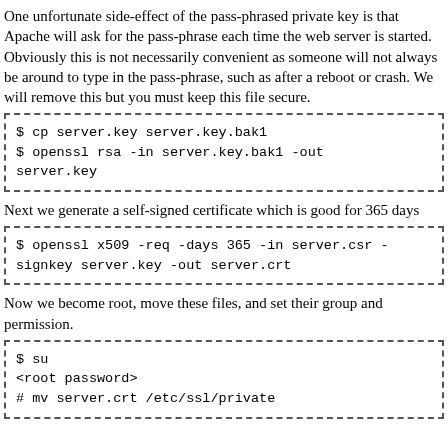One unfortunate side-effect of the pass-phrased private key is that Apache will ask for the pass-phrase each time the web server is started. Obviously this is not necessarily convenient as someone will not always be around to type in the pass-phrase, such as after a reboot or crash. We will remove this but you must keep this file secure.
$ cp server.key server.key.bak1
$ openssl rsa -in server.key.bak1 -out server.key
Next we generate a self-signed certificate which is good for 365 days
$ openssl x509 -req -days 365 -in server.csr -signkey server.key -out server.crt
Now we become root, move these files, and set their group and permission.
$ su
<root password>
# mv server.crt /etc/ssl/private